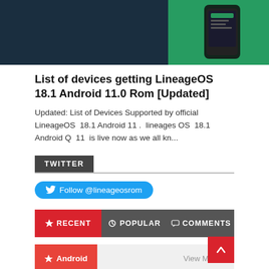[Figure (screenshot): Hero banner with dark teal background and phone/device mockup on the right side with green accent]
List of devices getting LineageOS 18.1 Android 11.0 Rom [Updated]
Updated: List of Devices Supported by official LineageOS 18.1 Android 11 . lineages OS 18.1 Android Q 11 is live now as we all kn...
TWITTER
Follow @lineageosrom
RECENT   POPULAR   COMMENTS
Android   View More >